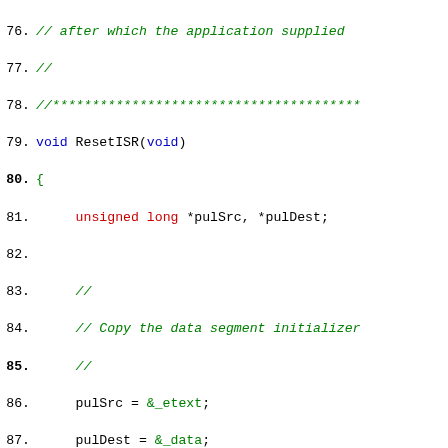Source code listing lines 76-99 showing ResetISR function in C with inline assembly